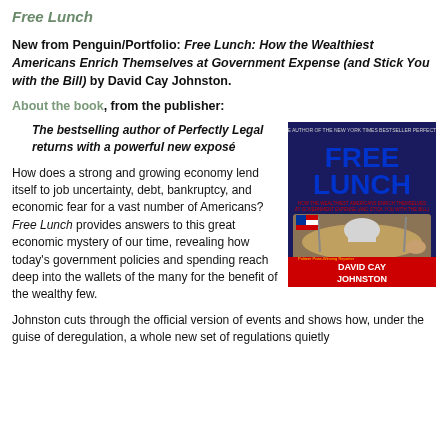Free Lunch
New from Penguin/Portfolio: Free Lunch: How the Wealthiest Americans Enrich Themselves at Government Expense (and Stick You with the Bill) by David Cay Johnston.
About the book, from the publisher:
The bestselling author of Perfectly Legal returns with a powerful new exposé
[Figure (photo): Book cover of 'Free Lunch: How the Wealthiest Americans Enrich Themselves at Government Expense (and Stick You with the Bill)' by David Cay Johnston. Published by Penguin/Portfolio. Shows a food tray with the US Capitol building and wealthy imagery.]
How does a strong and growing economy lend itself to job uncertainty, debt, bankruptcy, and economic fear for a vast number of Americans? Free Lunch provides answers to this great economic mystery of our time, revealing how today's government policies and spending reach deep into the wallets of the many for the benefit of the wealthy few.
Johnston cuts through the official version of events and shows how, under the guise of deregulation, a whole new set of regulations quietly